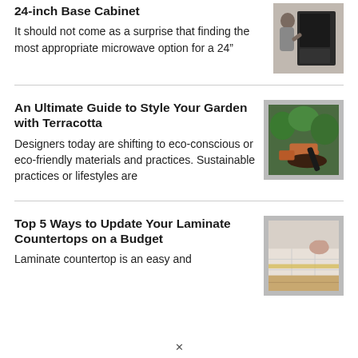24-inch Base Cabinet
It should not come as a surprise that finding the most appropriate microwave option for a 24”
[Figure (photo): Person interacting with a microwave or kitchen appliance, viewed from side/back]
An Ultimate Guide to Style Your Garden with Terracotta
Designers today are shifting to eco-conscious or eco-friendly materials and practices. Sustainable practices or lifestyles are
[Figure (photo): Garden scene with terracotta pots and soil on a dark surface surrounded by green plants]
Top 5 Ways to Update Your Laminate Countertops on a Budget
Laminate countertop is an easy and
[Figure (photo): Close-up of laminate countertop edge with light tones]